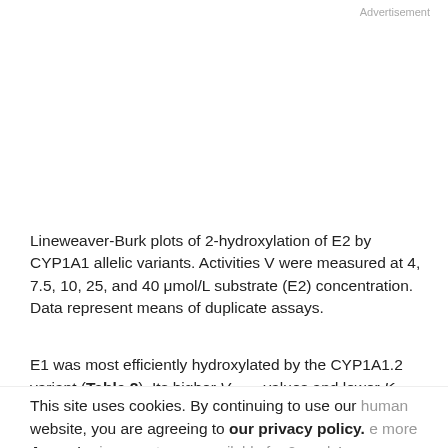Advertisement
Lineweaver-Burk plots of 2-hydroxylation of E2 by CYP1A1 allelic variants. Activities V were measured at 4, 7.5, 10, 25, and 40 μmol/L substrate (E2) concentration. Data represent means of duplicate assays.
E1 was most efficiently hydroxylated by the CYP1A1.2 variant (Table 2). Its higher V max values and lower K m values for hydroxylations in positions 2 and 4 indicate a higher affinity of CYP1A1.2 for E1 binding. Note, that this
This site uses cookies. By continuing to use our website, you are agreeing to our privacy policy. Accept
human mammary, apart from occasional E2, primarily to make more abundant primary estrogen available for 2- and 4-